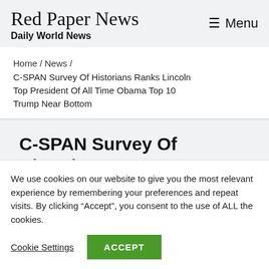Red Paper News
Daily World News
Home / News /
C-SPAN Survey Of Historians Ranks Lincoln Top President Of All Time Obama Top 10 Trump Near Bottom
C-SPAN Survey Of Historians
We use cookies on our website to give you the most relevant experience by remembering your preferences and repeat visits. By clicking “Accept”, you consent to the use of ALL the cookies.
Cookie Settings  ACCEPT